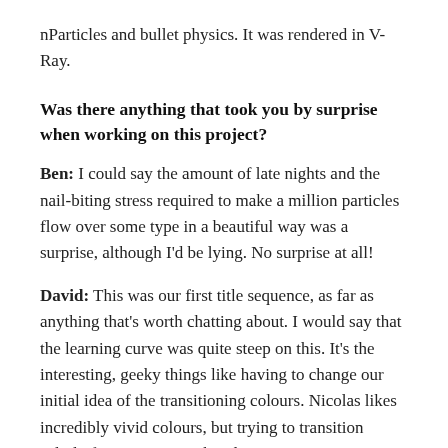nParticles and bullet physics. It was rendered in V-Ray.
Was there anything that took you by surprise when working on this project?
Ben: I could say the amount of late nights and the nail-biting stress required to make a million particles flow over some type in a beautiful way was a surprise, although I'd be lying. No surprise at all!
David: This was our first title sequence, as far as anything that's worth chatting about. I would say that the learning curve was quite steep on this. It's the interesting, geeky things like having to change our initial idea of the transitioning colours. Nicolas likes incredibly vivid colours, but trying to transition calmly from one to another does